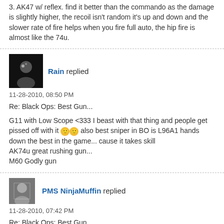3. AK47 w/ reflex. find it better than the commando as the damage is slightly higher, the recoil isn't random it's up and down and the slower rate of fire helps when you fire full auto, the hip fire is almost like the 74u.
Rain replied
11-28-2010, 08:50 PM
Re: Black Ops: Best Gun...
G11 with Low Scope <333 I beast with that thing and people get pissed off with it also best sniper in BO is L96A1 hands down the best in the game... cause it takes skill
AK74u great rushing gun...
M60 Godly gun
PMS NinjaMuffin replied
11-28-2010, 07:42 PM
Re: Black Ops: Best Gun...
Ak-47 for me!